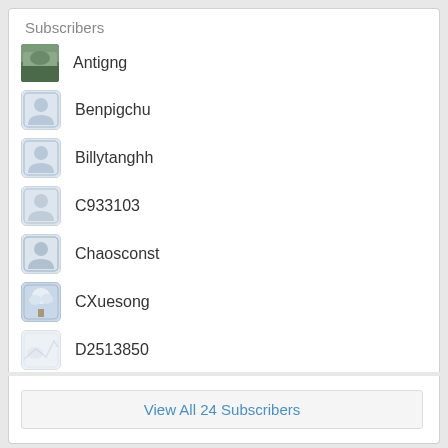Subscribers
Antigng
Benpigchu
Billytanghh
C933103
Chaosconst
CXuesong
D2513850
View All 24 Subscribers
| line | code |
| --- | --- |
| 1 | //////////afwiki////////// |
| 2 | /////rename needed///// |
| 3 | Kategorie:Gebruiker zh-wen |
| 4 | * Sjabloon:Gebruiker zh-wen |
| 5 | * Gebruiker:Ruennsheng |
| 6 | Kategorie:Gebruiker zh-wen-N |
| 7 | //////////cawiki////////// |